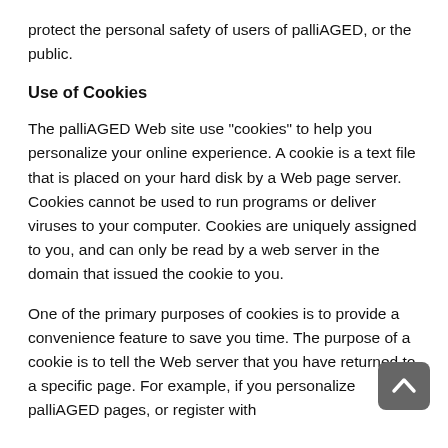protect the personal safety of users of palliAGED, or the public.
Use of Cookies
The palliAGED Web site use "cookies" to help you personalize your online experience. A cookie is a text file that is placed on your hard disk by a Web page server. Cookies cannot be used to run programs or deliver viruses to your computer. Cookies are uniquely assigned to you, and can only be read by a web server in the domain that issued the cookie to you.
One of the primary purposes of cookies is to provide a convenience feature to save you time. The purpose of a cookie is to tell the Web server that you have returned to a specific page. For example, if you personalize palliAGED pages, or register with